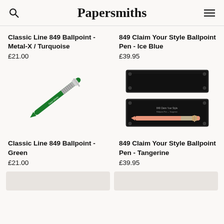Papersmiths
Classic Line 849 Ballpoint - Metal-X / Turquoise
£21.00
849 Claim Your Style Ballpoint Pen - Ice Blue
£39.95
[Figure (photo): Green Caran d'Ache 849 Classic Line ballpoint pen diagonal on white background]
[Figure (photo): 849 Claim Your Style Ballpoint Pen in Tangerine shown in open black metal tin box]
Classic Line 849 Ballpoint - Green
£21.00
849 Claim Your Style Ballpoint Pen - Tangerine
£39.95